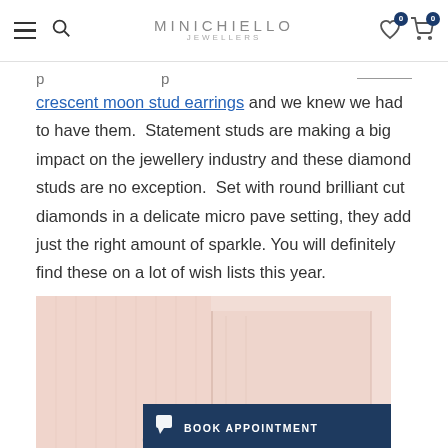MINICHIELLO JEWELLERS — navigation bar with hamburger, search, wishlist (0), cart (0)
crescent moon stud earrings and we knew we had to have them.  Statement studs are making a big impact on the jewellery industry and these diamond studs are no exception.  Set with round brilliant cut diamonds in a delicate micro pave setting, they add just the right amount of sparkle. You will definitely find these on a lot of wish lists this year.
[Figure (photo): Close-up photo of a pink fabric surface with small jewellery items visible, likely earrings. There is a dark navy 'BOOK APPOINTMENT' button overlay in the bottom right corner.]